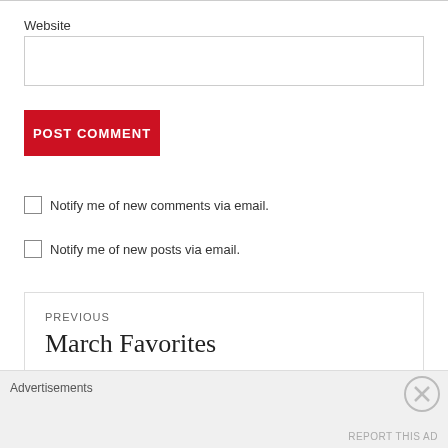Website
POST COMMENT
Notify me of new comments via email.
Notify me of new posts via email.
PREVIOUS
March Favorites
Advertisements
REPORT THIS AD